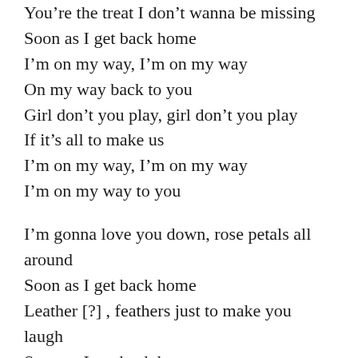You're the treat I don't wanna be missing
Soon as I get back home
I'm on my way, I'm on my way
On my way back to you
Girl don't you play, girl don't you play
If it's all to make us
I'm on my way, I'm on my way
I'm on my way to you
I'm gonna love you down, rose petals all around
Soon as I get back home
Leather [?] , feathers just to make you laugh
Soon as I get back home
I'll be there soon, I know that you miss it
I'm gonna make up for all the distance
Oh, hop on my surfboard